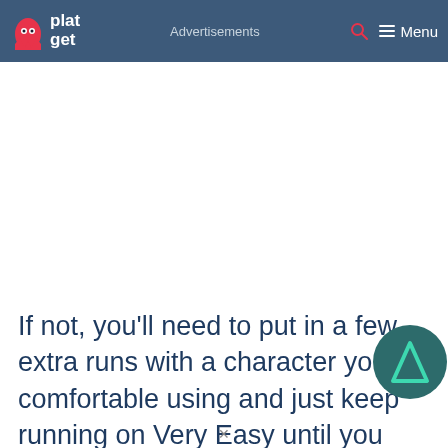platget — Advertisements — Menu
If not, you'll need to put in a few extra runs with a character you're comfortable using and just keep running on Very Easy until you finally succeed in